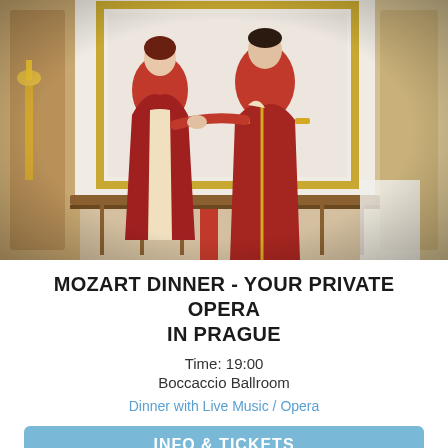[Figure (photo): Two opera performers in baroque costumes — a woman in a deep red velvet gown with embroidered details, and a man in an ornate red military-style coat with gold trim — posing in an elegant ballroom setting with gilded decor and a balcony railing.]
MOZART DINNER - YOUR PRIVATE OPERA IN PRAGUE
Time: 19:00
Boccaccio Ballroom
Dinner with Live Music / Opera
INFO & TICKETS